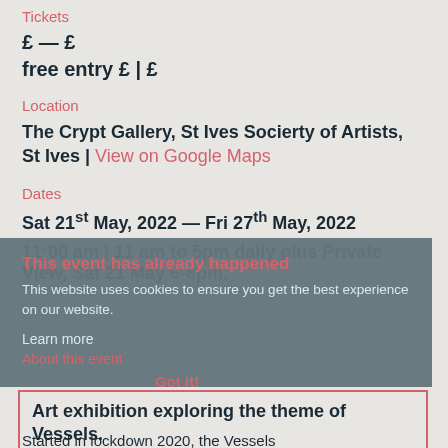Tickets
£ — £
free entry £ | £
Location
The Crypt Gallery, St Ives Socierty of Artists, St Ives | View on Google Maps
Dates
Sat 21st May, 2022 — Fri 27th May, 2022
This event has already happened
11:00 am | 11 am to 5pm daily plus Private View, Sat 21 May 6-8pm.
This website uses cookies to ensure you get the best experience on our website.
Learn more
About this event
Got it!
Art exhibition exploring the theme of Vessels.
Started in lockdown 2020, the Vessels